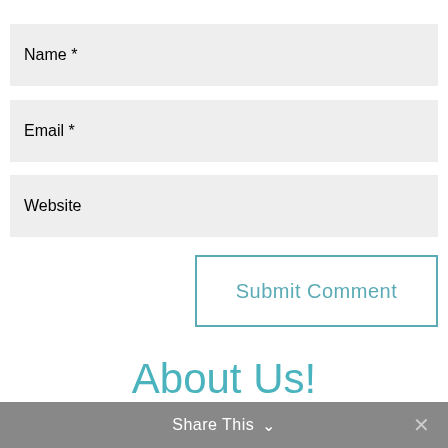Name *
Email *
Website
Submit Comment
About Us!
Share This ∨  ✕